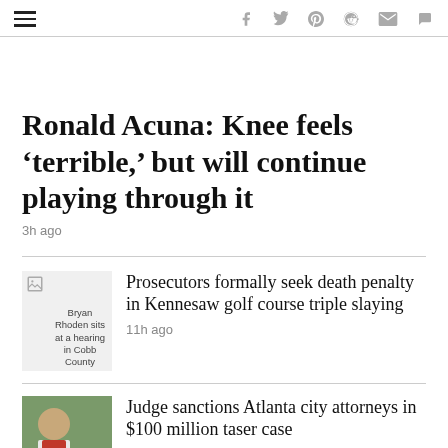Navigation and social share icons (hamburger menu, Facebook, Twitter, Pinterest, Reddit, Email, Comment)
Ronald Acuna: Knee feels ‘terrible,’ but will continue playing through it
3h ago
[Figure (photo): Broken image placeholder with caption: Bryan Rhoden sits at a hearing in Cobb County]
Prosecutors formally seek death penalty in Kennesaw golf course triple slaying
11h ago
[Figure (photo): Photo of a person outdoors]
Judge sanctions Atlanta city attorneys in $100 million taser case
11h ago